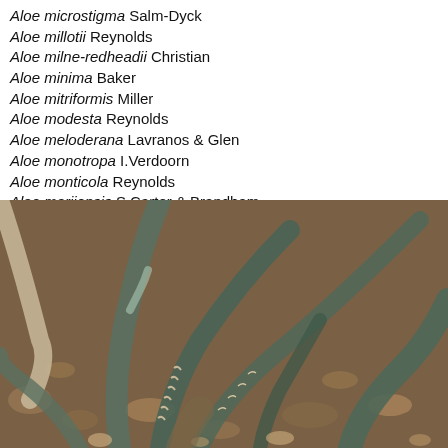Aloe microstigma Salm-Dyck
Aloe millotii Reynolds
Aloe milne-redheadii Christian
Aloe minima Baker
Aloe mitriformis Miller
Aloe modesta Reynolds
Aloe meloderana Lavranos & Glen
Aloe monotropa I.Verdoorn
Aloe monticola Reynolds
Aloe morijensis S.Carter & Brandham
[Figure (photo): Close-up photograph of an Aloe plant with long, spiky, grayish-green leaves growing in a rocky, gravelly soil environment.]